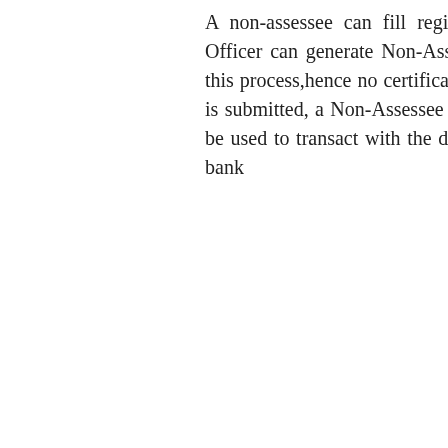A non-assessee can fill registration form himself or a designated Range Officer can generate Non-Assessee Code . There is no approval required in this process,hence no certificate will be issued by the Department. Once form is submitted, a Non-Assessee code is generated by the system. This code can be used to transact with the department and for making payment through the bank
How an Importer - intending to issue...
[Figure (screenshot): Email subscription popup with 'Subscribe by Email Get Free Updates' heading, Gmail icon email input field, Subscribe button, and 'Don't Forget To Join US Our Community' text. A red X close button is visible at top right of the popup.]
...ormal ts. At hould orter" Form. ocess with a nnn.,( g him